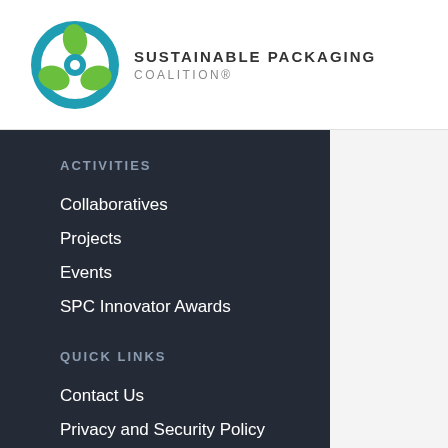[Figure (logo): Sustainable Packaging Coalition logo: circular icon with green and teal colors featuring stylized leaf/recycle symbol, next to bold text SUSTAINABLE PACKAGING COALITION®]
ACTIVITIES
Collaboratives
Projects
Events
SPC Innovator Awards
QUICK LINKS
Contact Us
Privacy and Security Policy
SPC Logo Policy